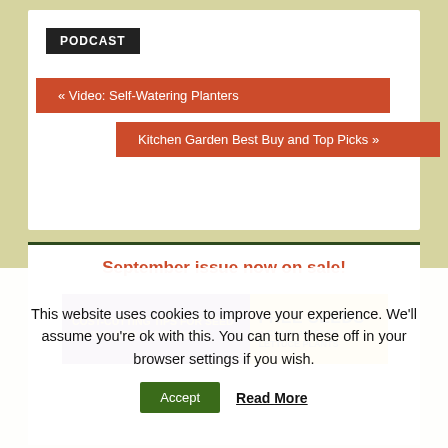PODCAST
« Video: Self-Watering Planters
Kitchen Garden Best Buy and Top Picks »
September issue now on sale!
[Figure (illustration): Magazine advertisement banner: purple section with yellow text 'COST-CUTTING TIPS FOR SEED SAVING AND PRESERVING' and yellow section with text 'FREE SEEDS CLAIM 40 *FREE LETTUCE PLANTS']
This website uses cookies to improve your experience. We'll assume you're ok with this. You can turn these off in your browser settings if you wish.
Accept   Read More